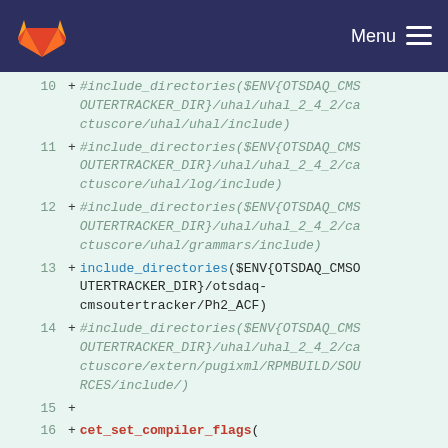GitLab Menu
[Figure (screenshot): Code diff view showing CMakeLists.txt include_directories and cet_set_compiler_flags additions, lines 10-17]
10 + #include_directories($ENV{OTSDAQ_CMSOUTERTRACKER_DIR}/uhal/uhal_2_4_2/cactuscore/uhal/uhal/include)
11 + #include_directories($ENV{OTSDAQ_CMSOUTERTRACKER_DIR}/uhal/uhal_2_4_2/cactuscore/uhal/log/include)
12 + #include_directories($ENV{OTSDAQ_CMSOUTERTRACKER_DIR}/uhal/uhal_2_4_2/cactuscore/uhal/grammars/include)
13 + include_directories($ENV{OTSDAQ_CMSOUTERTRACKER_DIR}/otsdaq-cmsoutertracker/Ph2_ACF)
14 + #include_directories($ENV{OTSDAQ_CMSOUTERTRACKER_DIR}/uhal/uhal_2_4_2/cactuscore/extern/pugixml/RPMBUILD/SOURCES/include/)
15 +
16 + cet_set_compiler_flags(
17 +   EXTRA_FLAGS -Wno-reorder -Wl,--undefined